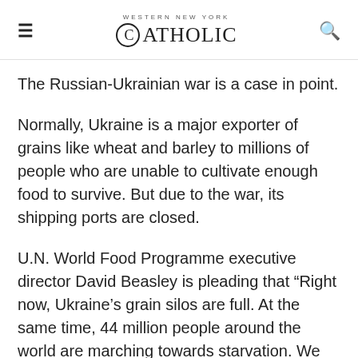Western New York Catholic
The Russian-Ukrainian war is a case in point.
Normally, Ukraine is a major exporter of grains like wheat and barley to millions of people who are unable to cultivate enough food to survive. But due to the war, its shipping ports are closed.
U.N. World Food Programme executive director David Beasley is pleading that “Right now, Ukraine’s grain silos are full. At the same time, 44 million people around the world are marching towards starvation. We have to open up these ports so that food can move in and out of Ukraine. The world